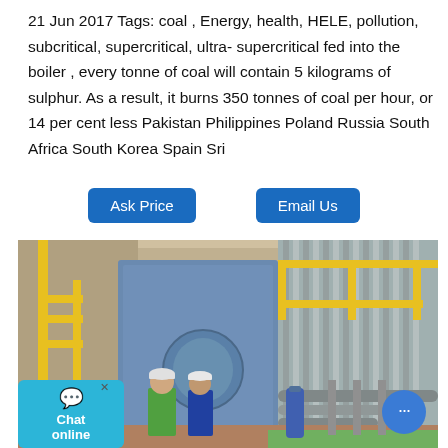21 Jun 2017 Tags: coal , Energy, health, HELE, pollution, subcritical, supercritical, ultra- supercritical fed into the boiler , every tonne of coal will contain 5 kilograms of sulphur. As a result, it burns 350 tonnes of coal per hour, or 14 per cent less Pakistan Philippines Poland Russia South Africa South Korea Spain Sri
[Figure (other): Two buttons: 'Ask Price' and 'Email Us' in blue rounded rectangles]
[Figure (photo): Industrial boiler facility interior with yellow railings and stairs, large blue boiler equipment, two workers in hard hats standing in front, pipes and industrial equipment visible, green and yellow structural elements]